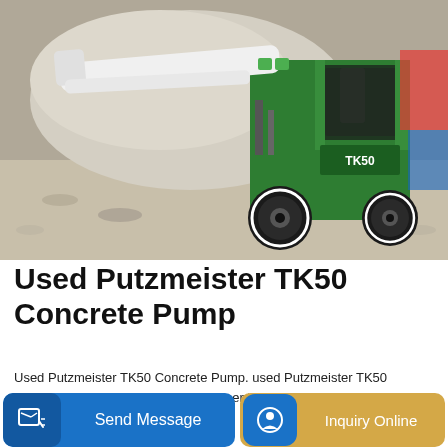[Figure (photo): Green and white Putzmeister TK50 concrete pump machine on a gravel/construction site, showing the front loader arm and cab]
Used Putzmeister TK50 Concrete Pump
Used Putzmeister TK50 Concrete Pump. used Putzmeister TK50 concrete pump. Back to Used Equipment. REED Concrete Pumps and Guncrete Gunite Machines.
[Figure (photo): Partial view of another green concrete pump machine in a warehouse/indoor setting with visible roof structure]
Send Message
Inquiry Online